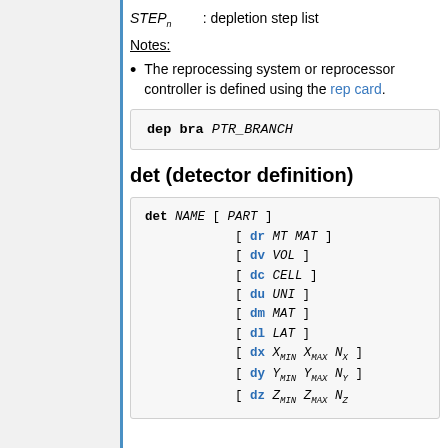STEPn : depletion step list
Notes:
The reprocessing system or reprocessor controller is defined using the rep card.
dep bra PTR_BRANCH
det (detector definition)
det NAME [ PART ] [ dr MT MAT ] [ dv VOL ] [ dc CELL ] [ du UNI ] [ dm MAT ] [ dl LAT ] [ dx X_MIN X_MAX N_X ] [ dy Y_MIN Y_MAX N_Y ] [ dz Z_MIN Z_MAX N_Z ]